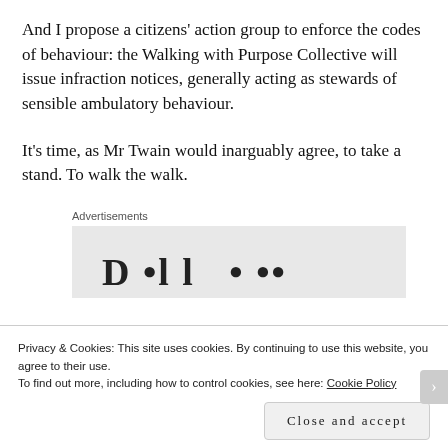And I propose a citizens' action group to enforce the codes of behaviour: the Walking with Purpose Collective will issue infraction notices, generally acting as stewards of sensible ambulatory behaviour.
It's time, as Mr Twain would inarguably agree, to take a stand. To walk the walk.
[Figure (other): Advertisement banner partially visible showing large bold text, partially obscured]
Privacy & Cookies: This site uses cookies. By continuing to use this website, you agree to their use.
To find out more, including how to control cookies, see here: Cookie Policy
Close and accept